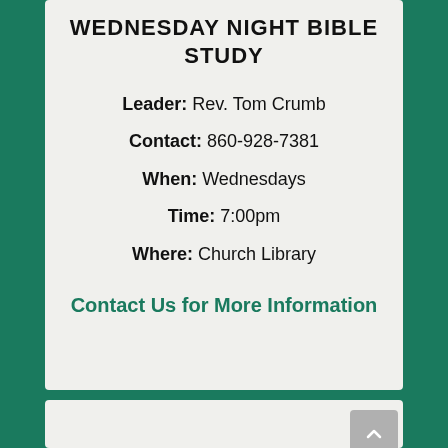WEDNESDAY NIGHT BIBLE STUDY
Leader: Rev. Tom Crumb
Contact: 860-928-7381
When: Wednesdays
Time: 7:00pm
Where: Church Library
Contact Us for More Information
[Figure (photo): Circular photo showing a person, partially visible at the bottom of the page]